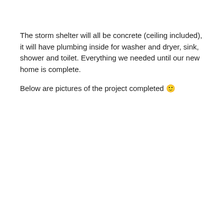The storm shelter will all be concrete (ceiling included), it will have plumbing inside for washer and dryer, sink, shower and toilet. Everything we needed until our new home is complete.
Below are pictures of the project completed 🙂